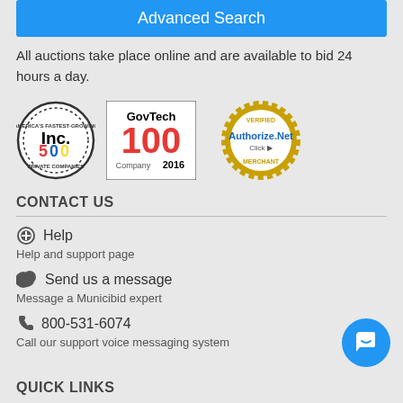Advanced Search
All auctions take place online and are available to bid 24 hours a day.
[Figure (logo): Inc. 500 America's Fastest-Growing Private Companies badge/seal]
[Figure (logo): GovTech 100 Company 2016 logo]
[Figure (logo): Authorize.Net Verified Merchant seal]
CONTACT US
Help — Help and support page
Send us a message — Message a Municibid expert
800-531-6074 — Call our support voice messaging system
QUICK LINKS